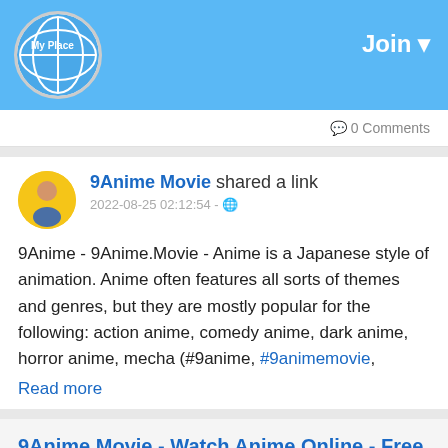MyPlace | Join
0 Comments
9Anime Movie shared a link
2022-08-25 02:12:54 - 🌐
9Anime - 9Anime.Movie - Anime is a Japanese style of animation. Anime often features all sorts of themes and genres, but they are mostly popular for the following: action anime, comedy anime, dark anime, horror anime, mecha (#9anime, #9animemovie,
Read more
9Anime Movie - Watch Anime Online - Free Anime HD Sub, Dub
9Anime Movie The best site to watch anime online for Free . 9Anime.Movie - Watch Anime online with English DUB and SUB for FREE 2022.